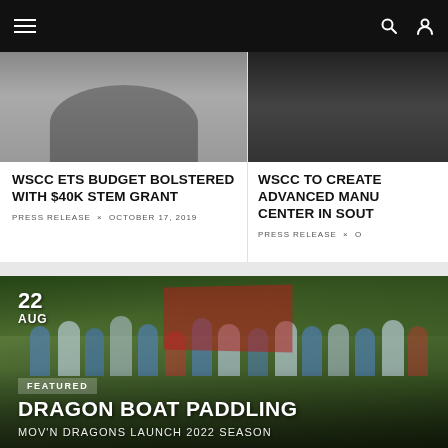Navigation bar with hamburger menu, search and user icons
WSCC ETS BUDGET BOLSTERED WITH $40K STEM GRANT
PRESS RELEASE × OCTOBER 17, 2019
WSCC TO CREATE ADVANCED MANU CENTER IN SOUT
PRESS RELEASE × O
[Figure (photo): Group photo of dragon boat paddling team, Mov'n Dragons, in matching blue and white shirts, outdoors with trees and red boat in background]
22 AUG
FEATURED
DRAGON BOAT PADDLING
MOV'N DRAGONS LAUNCH 2022 SEASON